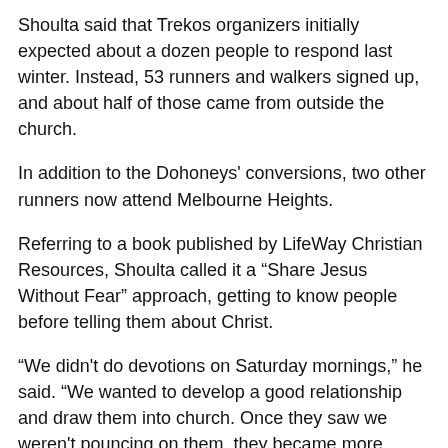Shoulta said that Trekos organizers initially expected about a dozen people to respond last winter. Instead, 53 runners and walkers signed up, and about half of those came from outside the church.
In addition to the Dohoneys' conversions, two other runners now attend Melbourne Heights.
Referring to a book published by LifeWay Christian Resources, Shoulta called it a “Share Jesus Without Fear” approach, getting to know people before telling them about Christ.
“We didn't do devotions on Saturday mornings,” he said. “We wanted to develop a good relationship and draw them into church. Once they saw we weren't pouncing on them, they became more trusting.”
On Jan. 26, Melbourne Heights hosted its first training run for this year's race. Of the 75 people who expressed interest this year, about two-thirds are not church members, Shoulta said: “There are prospects in this group as well.”
Dan Garland, leader of the evangelism growth team for the Kentucky